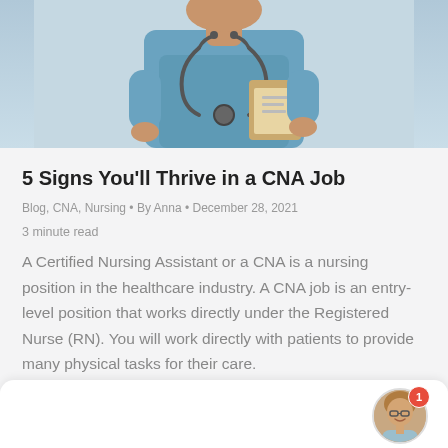[Figure (photo): A nurse in blue scrubs wearing a stethoscope and holding a clipboard, photographed from chest level up against a hospital background.]
5 Signs You'll Thrive in a CNA Job
Blog, CNA, Nursing • By Anna • December 28, 2021
3 minute read
A Certified Nursing Assistant or a CNA is a nursing position in the healthcare industry. A CNA job is an entry-level position that works directly under the Registered Nurse (RN). You will work directly with patients to provide many physical tasks for their care.
[Figure (photo): Small circular avatar photo of a woman with glasses and blonde hair, with a red notification badge showing the number 1.]